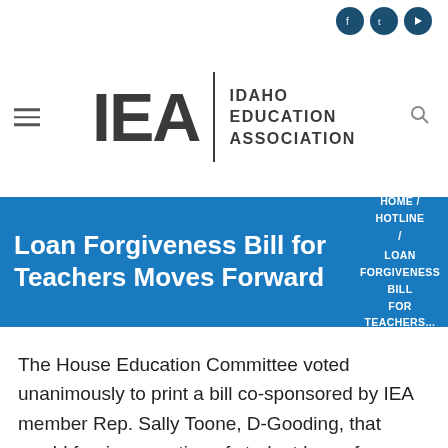[Figure (logo): Idaho Education Association logo with IEA in large bold text, a vertical divider, and the words IDAHO EDUCATION ASSOCIATION stacked to the right]
Loan Forgiveness Bill for Teachers Moves Forward
HOME / HOTLINE / LOAN FORGIVENESS BILL FOR TEACHERS...
The House Education Committee voted unanimously to print a bill co-sponsored by IEA member Rep. Sally Toone, D-Gooding, that would forgive a portion of student loans for teachers in rural and economically